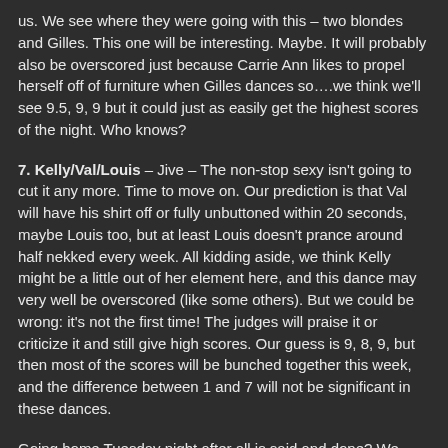us.  We see where they were going with this – two blondes and Gilles.  This one will be interesting.  Maybe.  It will probably also be overscored just because Carrie Ann likes to propel herself off of furniture when Gilles dances so….we think we'll see 9.5, 9, 9 but it could just as easily get the highest scores of the night. Who knows?
7.  Kelly/Val/Louis – Jive – The non-stop sexy isn't going to cut it any more.  Time to move on.  Our prediction is that Val will have his shirt off or fully unbuttoned within 20 seconds, maybe Louis too, but at least Louis doesn't prance around half nekked every week.  All kidding aside, we think Kelly might be a little out of her element here, and this dance may very well be overscored (like some others). But we could be wrong: it's not the first time!  The judges will praise it or criticize it and still give high scores. Our guess is 9, 8, 9, but then most of the scores will be bunched together this week, and the difference between 1 and 7 will not be significant in these dances.
Going home Tuesday night after all is said and done?  We have no idea.  Probably Kelly and Gilles regardless of scoring and all those crazy unknowns, but it could be any of them.  Scoring and dance skill